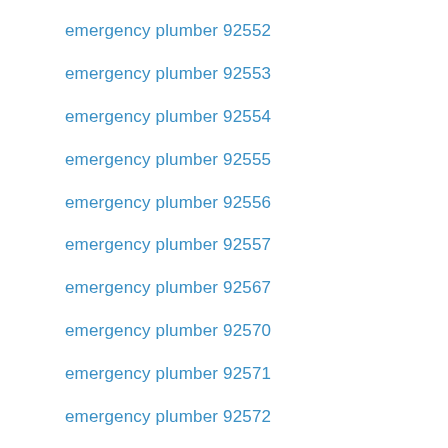emergency plumber 92552
emergency plumber 92553
emergency plumber 92554
emergency plumber 92555
emergency plumber 92556
emergency plumber 92557
emergency plumber 92567
emergency plumber 92570
emergency plumber 92571
emergency plumber 92572